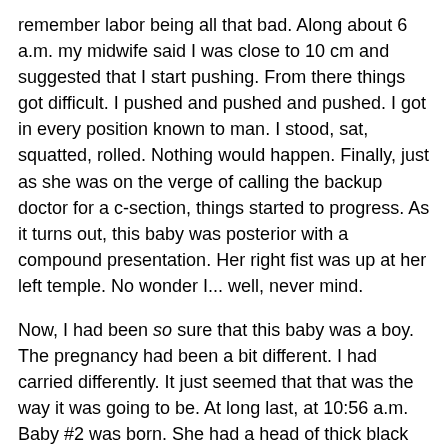remember labor being all that bad. Along about 6 a.m. my midwife said I was close to 10 cm and suggested that I start pushing. From there things got difficult. I pushed and pushed and pushed. I got in every position known to man. I stood, sat, squatted, rolled. Nothing would happen. Finally, just as she was on the verge of calling the backup doctor for a c-section, things started to progress. As it turns out, this baby was posterior with a compound presentation. Her right fist was up at her left temple. No wonder I... well, never mind.
Now, I had been so sure that this baby was a boy. The pregnancy had been a bit different. I had carried differently. It just seemed that that was the way it was going to be. At long last, at 10:56 a.m. Baby #2 was born. She had a head of thick black hair and didn't look a thing like our first, so I was sure that she was a boy. Nope. She was an 8 lb. 9 oz. baby girl with a host of "stork bites."
My in-laws brought Big Sister in that afternoon. She looked at her Baby Sister, leaned over, and yanked a handful of that thick, black hair. Ah, siblings. It was the beginning of a beautiful relationship.